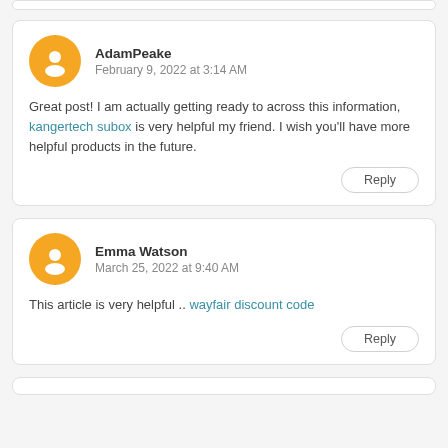AdamPeake
February 9, 2022 at 3:14 AM
Great post! I am actually getting ready to across this information, kangertech subox is very helpful my friend. I wish you'll have more helpful products in the future.
Reply
Emma Watson
March 25, 2022 at 9:40 AM
This article is very helpful .. wayfair discount code
Reply